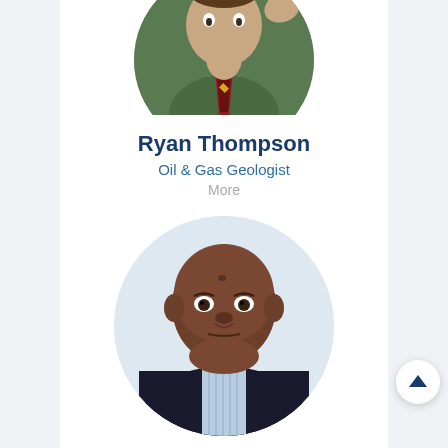[Figure (photo): Circular cropped profile photo of a person in a green outfit with a colorful tie, partially visible at top of page]
Ryan Thompson
Oil & Gas Geologist
More
[Figure (photo): Circular profile photo of a bald Black man in a dark suit and light blue checked shirt, looking directly at camera]